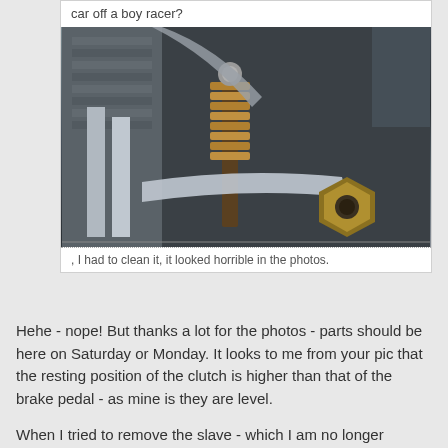car off a boy racer?
[Figure (photo): Close-up photograph of automotive clutch/brake mechanism components including a threaded bolt, spring, and metal hardware parts]
, I had to clean it, it looked horrible in the photos.
Hehe - nope! But thanks a lot for the photos - parts should be here on Saturday or Monday. It looks to me from your pic that the resting position of the clutch is higher than that of the brake pedal - as mine is they are level.
When I tried to remove the slave - which I am no longer